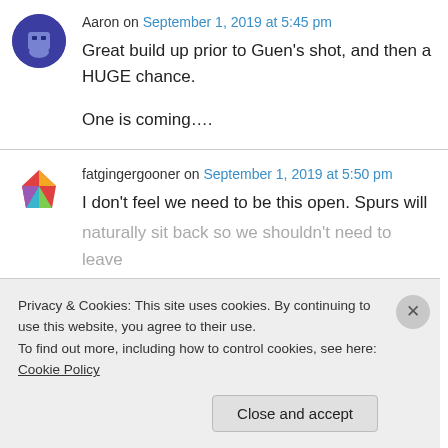Aaron on September 1, 2019 at 5:45 pm
Great build up prior to Guen’s shot, and then a HUGE chance.

One is coming….
fatgingergooner on September 1, 2019 at 5:50 pm
I don’t feel we need to be this open. Spurs will naturally sit back so we shouldn’t need to leave
Privacy & Cookies: This site uses cookies. By continuing to use this website, you agree to their use.
To find out more, including how to control cookies, see here: Cookie Policy